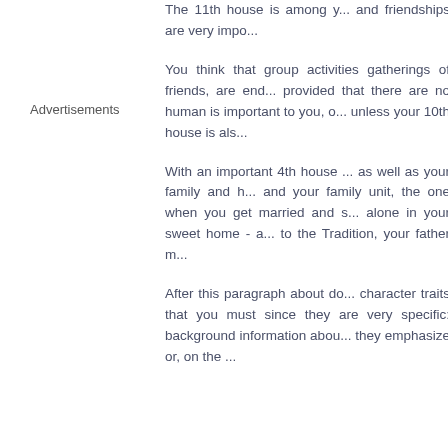The 11th house is among y... and friendships are very impo...
Advertisements
You think that group activities gatherings of friends, are end... provided that there are no human is important to you, o... unless your 10th house is als...
With an important 4th house ... as well as your family and h... and your family unit, the one when you get married and s... alone in your sweet home - a... to the Tradition, your father m...
After this paragraph about do... character traits that you must since they are very specific: background information abou... they emphasize or, on the ... features from your alit. A l...